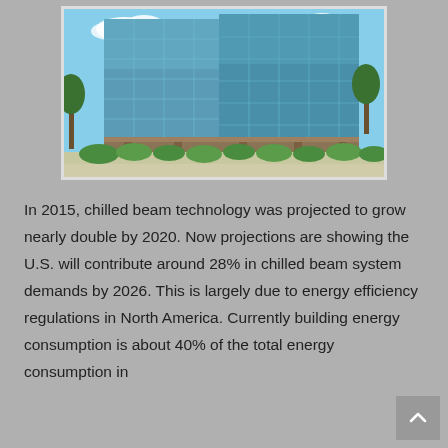[Figure (photo): Photograph of a modern glass office building with blue sky and green trees in the foreground]
In 2015, chilled beam technology was projected to grow nearly double by 2020. Now projections are showing the U.S. will contribute around 28% in chilled beam system demands by 2026. This is largely due to energy efficiency regulations in North America. Currently building energy consumption is about 40% of the total energy consumption in...